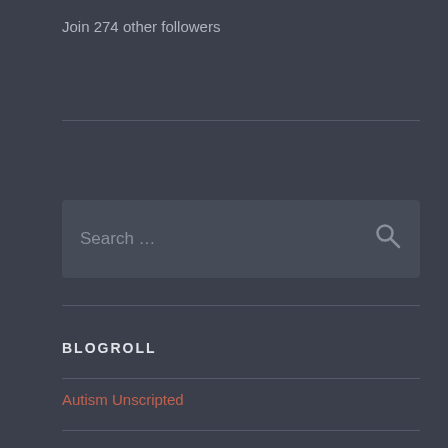Join 274 other followers
[Figure (screenshot): Search input box with placeholder text 'Search ...' and a magnifying glass icon on the right]
BLOGROLL
Autism Unscripted
Game & App Reviews
Off Road Scale RC Forum
The Late Douglas Adams